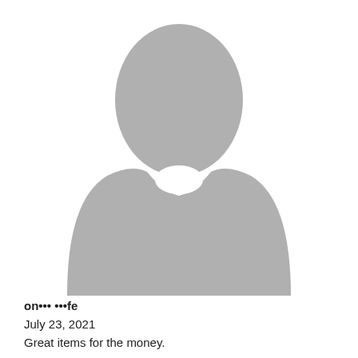[Figure (illustration): Generic gray placeholder silhouette of a person (head and shoulders), centered in the upper portion of the page]
on••• •••fe
July 23, 2021
Great items for the money.